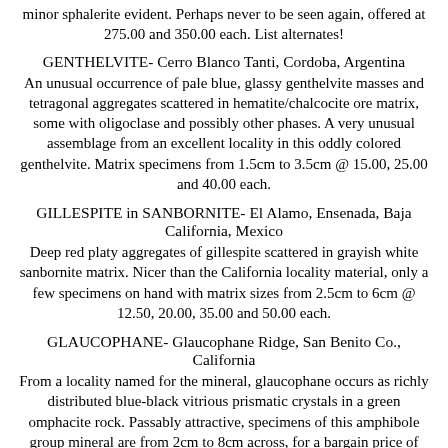minor sphalerite evident. Perhaps never to be seen again, offered at 275.00 and 350.00 each. List alternates!
GENTHELVITE- Cerro Blanco Tanti, Cordoba, Argentina
An unusual occurrence of pale blue, glassy genthelvite masses and tetragonal aggregates scattered in hematite/chalcocite ore matrix, some with oligoclase and possibly other phases. A very unusual assemblage from an excellent locality in this oddly colored genthelvite. Matrix specimens from 1.5cm to 3.5cm @ 15.00, 25.00 and 40.00 each.
GILLESPITE in SANBORNITE- El Alamo, Ensenada, Baja California, Mexico
Deep red platy aggregates of gillespite scattered in grayish white sanbornite matrix. Nicer than the California locality material, only a few specimens on hand with matrix sizes from 2.5cm to 6cm @ 12.50, 20.00, 35.00 and 50.00 each.
GLAUCOPHANE- Glaucophane Ridge, San Benito Co., California
From a locality named for the mineral, glaucophane occurs as richly distributed blue-black vitrious prismatic crystals in a green omphacite rock. Passably attractive, specimens of this amphibole group mineral are from 2cm to 8cm across, for a bargain price of just 10.00, 20.00, 30.00 and 45.00 each.